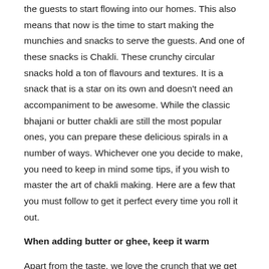the guests to start flowing into our homes. This also means that now is the time to start making the munchies and snacks to serve the guests. And one of these snacks is Chakli. These crunchy circular snacks hold a ton of flavours and textures. It is a snack that is a star on its own and doesn't need an accompaniment to be awesome. While the classic bhajani or butter chakli are still the most popular ones, you can prepare these delicious spirals in a number of ways. Whichever one you decide to make, you need to keep in mind some tips, if you wish to master the art of chakli making. Here are a few that you must follow to get it perfect every time you roll it out.
When adding butter or ghee, keep it warm
Apart from the taste, we love the crunch that we get while eating the chakli. It is this satisfying crumble that is not too hard or too soft. The way the chakli breaks and disintegrates into the mouth